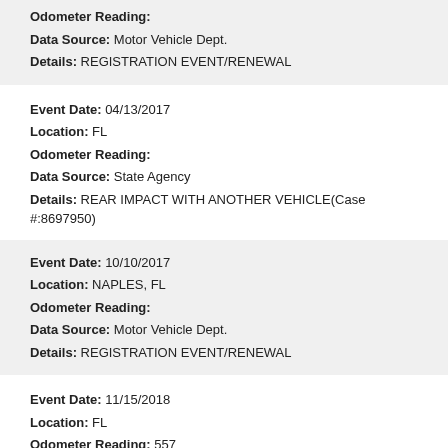Odometer Reading:
Data Source: Motor Vehicle Dept.
Details: REGISTRATION EVENT/RENEWAL
Event Date: 04/13/2017
Location: FL
Odometer Reading:
Data Source: State Agency
Details: REAR IMPACT WITH ANOTHER VEHICLE(Case #:8697950)
Event Date: 10/10/2017
Location: NAPLES, FL
Odometer Reading:
Data Source: Motor Vehicle Dept.
Details: REGISTRATION EVENT/RENEWAL
Event Date: 11/15/2018
Location: FL
Odometer Reading: 557
Data Source: Motor Vehicle Dept.
Details: ODOMETER READING FROM DMV